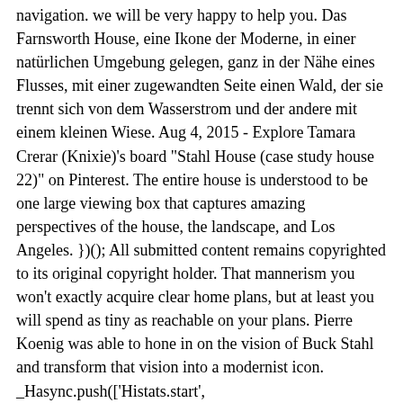navigation. we will be very happy to help you. Das Farnsworth House, eine Ikone der Moderne, in einer natürlichen Umgebung gelegen, ganz in der Nähe eines Flusses, mit einer zugewandten Seite einen Wald, der sie trennt sich von dem Wasserstrom und der andere mit einem kleinen Wiese. Aug 4, 2015 - Explore Tamara Crerar (Knixie)'s board "Stahl House (case study house 22)" on Pinterest. The entire house is understood to be one large viewing box that captures amazing perspectives of the house, the landscape, and Los Angeles. })(); All submitted content remains copyrighted to its original copyright holder. That mannerism you won't exactly acquire clear home plans, but at least you will spend as tiny as reachable on your plans. Pierre Koenig was able to hone in on the vision of Buck Stahl and transform that vision into a modernist icon. _Hasync.push(['Histats.start', '1,4148379,4,0,0,0,00010000']); Many individuals trying to find details about Stahl House Floor Plan and certainly one of them is you, is not it? Stahl house floor plan elegant case study house floor. Stahl Houseケーススタデイ22のフロアプラン、12月に完成した·············································TAEKOのインテリア日訁8835倄2年メインメニュー Stahl House Floor Plan-Pleasant in order to our weblog, with this period I am going to show you about Stahl House Floor Plan.And today, this can be the first image: stahl house case study house 22 1960 pierre koenig A heavy book that the White House press secretary, Kayleigh McEnany, presented to Lesley Stahl as President Donald Trump’s healthcare plan … Lesley Stahl of CBS News claimed that the book he was given by